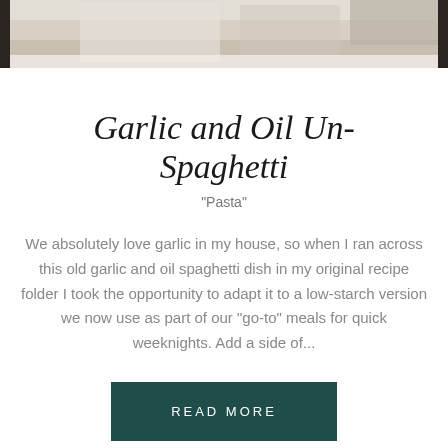[Figure (photo): Partial view of a pasta dish on a plate, cropped at the top of the page]
Garlic and Oil Un-Spaghetti
"Pasta"
We absolutely love garlic in my house, so when I ran across this old garlic and oil spaghetti dish in my original recipe folder I took the opportunity to adapt it to a low-starch version we now use as part of our "go-to" meals for quick weeknights. Add a side of...
READ MORE